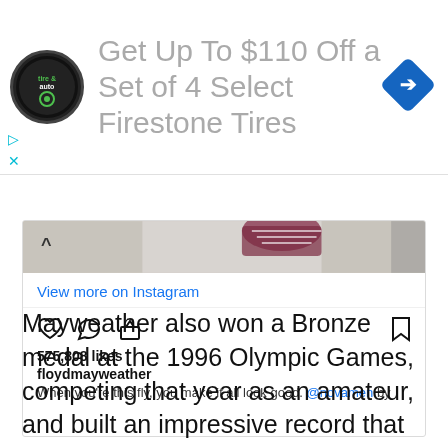[Figure (other): Advertisement banner for Firestone Tires with tire & auto logo and navigation icon. Text: 'Get Up To $110 Off a Set of 4 Select Firestone Tires']
[Figure (screenshot): Instagram embed showing a post by floydmayweather with 575,808 likes. Caption: 'When you're this fly, you make it all look good. @novamen by'. Includes like, comment, share and save icons. 'View more on Instagram' link shown.]
Mayweather also won a Bronze medal at the 1996 Olympic Games, competing that year as an amateur, and built an impressive record that surpassed his closest competitors, which includes the likes of Lenox Lewis, Mike Tyson,